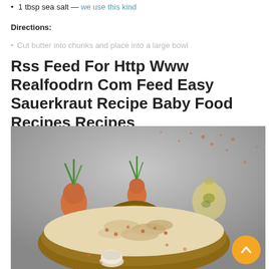1 tbsp sea salt — we use this kind
Directions:
Cut butter into chunks and place into a large bowl
Rss Feed For Http Www Realfoodrn Com Feed Easy Sauerkraut Recipe Baby Food Recipes Recipes
[Figure (photo): Overhead photo of a wicker basket filled with a baked casserole or sauerkraut dish with mushrooms and small orange lentils. In the background are two small carrots with green sprouts and a glass bottle of oil, all on a grey surface.]